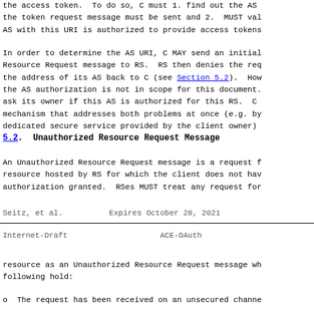the access token.  To do so, C must 1. find out the AS URI where the token request message must be sent and 2.  MUST validate that the AS with this URI is authorized to provide access tokens for RS.
In order to determine the AS URI, C MAY send an initial Unauthorized Resource Request message to RS.  RS then denies the request, returning the address of its AS back to C (see Section 5.2).  However, verifying the AS authorization is not in scope for this document.  C could, for example, ask its owner if this AS is authorized for this RS.  C could also use a mechanism that addresses both problems at once (e.g. by contacting a dedicated secure service provided by the client owner)
5.2.  Unauthorized Resource Request Message
An Unauthorized Resource Request message is a request for a resource hosted by RS for which the client does not have sufficient authorization granted.  RSes MUST treat any request for
Seitz, et al.          Expires October 28, 2021
Internet-Draft                               ACE-OAuth
resource as an Unauthorized Resource Request message when the following hold:
o  The request has been received on an unsecured channel